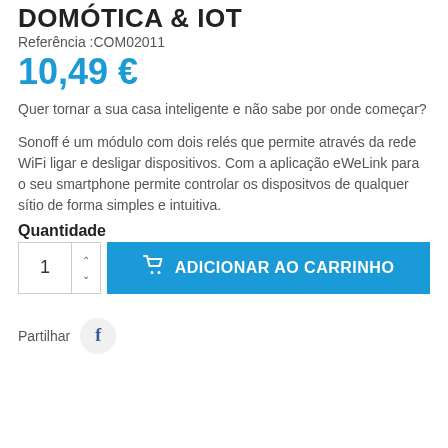DOMÓTICA & IOT
Referência :COM02011
10,49 €
Quer tornar a sua casa inteligente e não sabe por onde começar?
Sonoff é um módulo com dois relés que permite através da rede WiFi ligar e desligar dispositivos. Com a aplicação eWeLink para o seu smartphone permite controlar os dispositvos de qualquer sítio de forma simples e intuitiva.
Quantidade
1  ADICIONAR AO CARRINHO
Partilhar